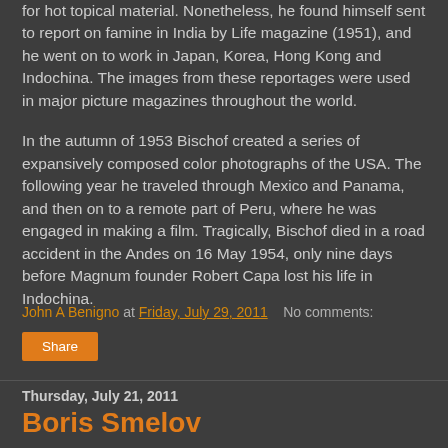for hot topical material. Nonetheless, he found himself sent to report on famine in India by Life magazine (1951), and he went on to work in Japan, Korea, Hong Kong and Indochina. The images from these reportages were used in major picture magazines throughout the world.
In the autumn of 1953 Bischof created a series of expansively composed color photographs of the USA. The following year he traveled through Mexico and Panama, and then on to a remote part of Peru, where he was engaged in making a film. Tragically, Bischof died in a road accident in the Andes on 16 May 1954, only nine days before Magnum founder Robert Capa lost his life in Indochina.
John A Benigno at Friday, July 29, 2011   No comments:
Share
Thursday, July 21, 2011
Boris Smelov